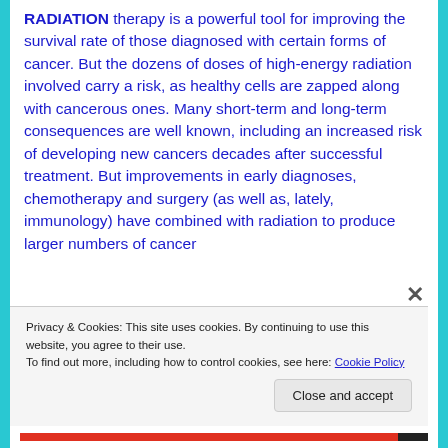RADIATION therapy is a powerful tool for improving the survival rate of those diagnosed with certain forms of cancer. But the dozens of doses of high-energy radiation involved carry a risk, as healthy cells are zapped along with cancerous ones. Many short-term and long-term consequences are well known, including an increased risk of developing new cancers decades after successful treatment. But improvements in early diagnoses, chemotherapy and surgery (as well as, lately, immunology) have combined with radiation to produce larger numbers of cancer
Privacy & Cookies: This site uses cookies. By continuing to use this website, you agree to their use.
To find out more, including how to control cookies, see here: Cookie Policy